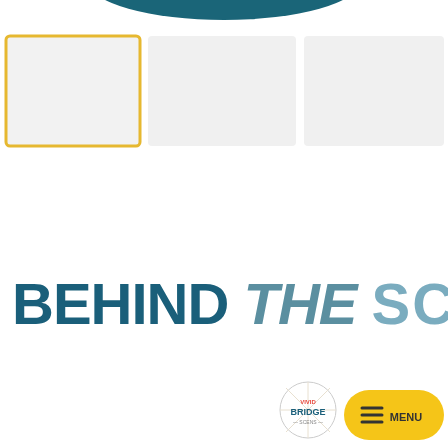[Figure (screenshot): Website navigation bar at top showing a dark teal arc/wave shape at the top center, and three rectangular card placeholders below it - the leftmost has a gold/yellow border, the middle and right have light gray backgrounds. This appears to be a website UI with navigation thumbnails.]
BEHIND THE SCENES
[Figure (logo): Vivid Bridge Scens circular logo in bottom right area]
[Figure (other): Yellow rounded rectangle MENU button with hamburger icon]